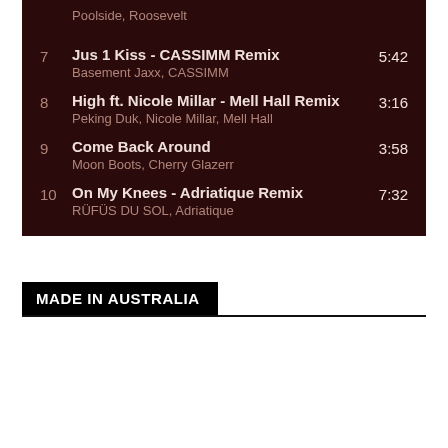Poolside, Roosevelt
7  Jus 1 Kiss - CASSIMM Remix  5:42  Basement Jaxx, CASSIMM
8  High ft. Nicole Millar - Mell Hall Remix  3:16  Peking Duk, Nicole Millar, Mell Hall
9  Come Back Around  3:58  Moon Boots, Cherry Glazerr
10  On My Knees - Adriatique Remix  7:32  RÜFÜS DU SOL, Adriatique
MADE IN AUSTRALIA